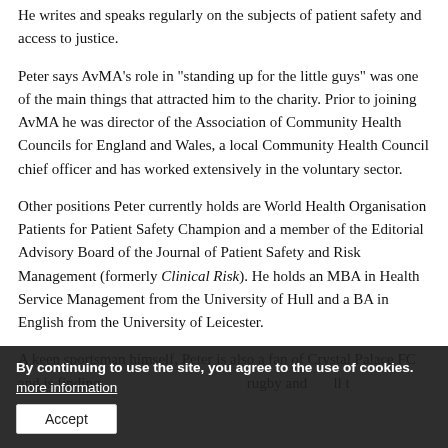He writes and speaks regularly on the subjects of patient safety and access to justice.
Peter says AvMA's role in “standing up for the little guys” was one of the main things that attracted him to the charity. Prior to joining AvMA he was director of the Association of Community Health Councils for England and Wales, a local Community Health Council chief officer and has worked extensively in the voluntary sector.
Other positions Peter currently holds are World Health Organisation Patients for Patient Safety Champion and a member of the Editorial Advisory Board of the Journal of Patient Safety and Risk Management (formerly Clinical Risk). He holds an MBA in Health Service Management from the University of Hull and a BA in English from the University of Leicester.
A keen sportsman himself, Peter is also a fan of Crystal Palace FC and is finding that he enjoys watching his sons play rugby and football t...
By continuing to use the site, you agree to the use of cookies. more information
Follow Peter on Twitter: @PeterWalshAvMA